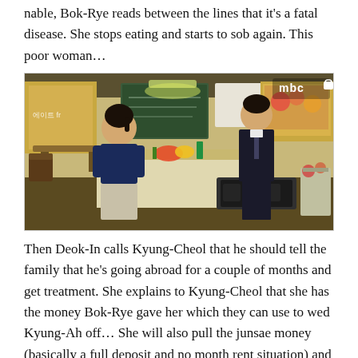nable, Bok-Rye reads between the lines that it's a fatal disease. She stops eating and starts to sob again. This poor woman…
[Figure (screenshot): Screenshot from MBC Korean drama showing a woman in a navy shirt sitting at a kitchen counter across from a man in a dark suit in a restaurant setting. MBC logo visible in top right corner.]
Then Deok-In calls Kyung-Cheol that he should tell the family that he's going abroad for a couple of months and get treatment. She explains to Kyung-Cheol that she has the money Bok-Rye gave her which they can use to wed Kyung-Ah off… She will also pull the junsae money (basically a full deposit and no month rent situation) and then turn her apartment into a monthly rental. They can use the junsae money for his surgery fees.